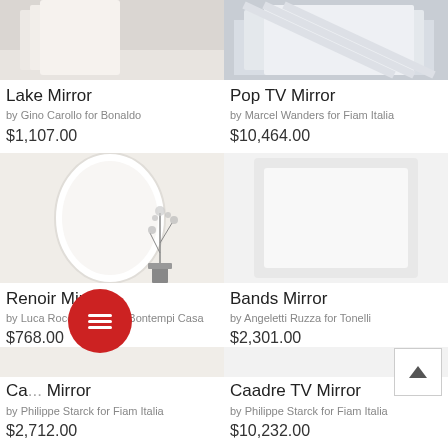[Figure (photo): Lake Mirror product image (cropped top)]
Lake Mirror
by Gino Carollo for Bonaldo
$1,107.00
[Figure (photo): Pop TV Mirror product image (cropped top)]
Pop TV Mirror
by Marcel Wanders for Fiam Italia
$10,464.00
[Figure (photo): Renoir Mirror product image - oval white mirror with plant decoration]
Renoir Mirror
by Luca Roccadadria for Bontempi Casa
$768.00
[Figure (photo): Bands Mirror product image - light gray background]
Bands Mirror
by Angeletti Ruzza for Tonelli
$2,301.00
Ca... Mirror
by Philippe Starck for Fiam Italia
$2,712.00
Caadre TV Mirror
by Philippe Starck for Fiam Italia
$10,232.00